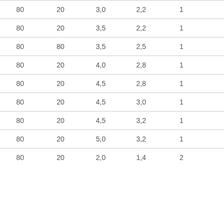| 80 | 20 | 3,0 | 2,2 | 1 |
| 80 | 20 | 3,5 | 2,2 | 1 |
| 80 | 80 | 3,5 | 2,5 | 1 |
| 80 | 20 | 4,0 | 2,8 | 1 |
| 80 | 20 | 4,5 | 2,8 | 1 |
| 80 | 20 | 4,5 | 3,0 | 1 |
| 80 | 20 | 4,5 | 3,2 | 1 |
| 80 | 20 | 5,0 | 3,2 | 1 |
| 80 | 20 | 2,0 | 1,4 | 2 |